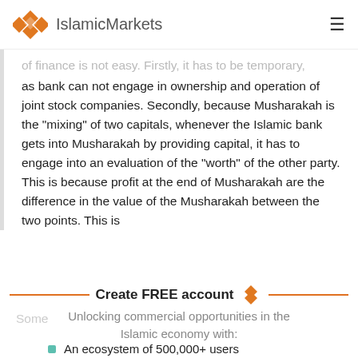IslamicMarkets
of finance is not easy. Firstly, it has to be temporary, as bank can not engage in ownership and operation of joint stock companies. Secondly, because Musharakah is the "mixing" of two capitals, whenever the Islamic bank gets into Musharakah by providing capital, it has to engage into an evaluation of the "worth" of the other party. This is because profit at the end of Musharakah are the difference in the value of the Musharakah between the two points. This is
Create FREE account
Unlocking commercial opportunities in the Islamic economy with:
An ecosystem of 500,000+ users
50,000+ publications and resources
Latest news, data and insights
Over 300 industry-led learning modules ...